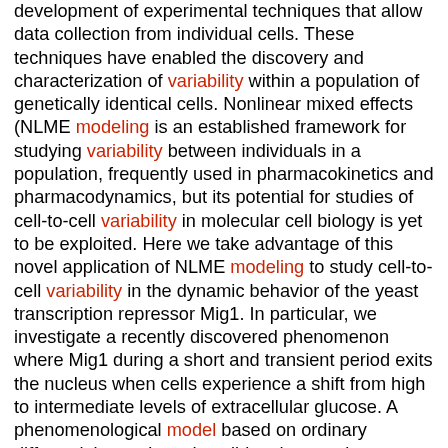development of experimental techniques that allow data collection from individual cells. These techniques have enabled the discovery and characterization of variability within a population of genetically identical cells. Nonlinear mixed effects (NLME modeling is an established framework for studying variability between individuals in a population, frequently used in pharmacokinetics and pharmacodynamics, but its potential for studies of cell-to-cell variability in molecular cell biology is yet to be exploited. Here we take advantage of this novel application of NLME modeling to study cell-to-cell variability in the dynamic behavior of the yeast transcription repressor Mig1. In particular, we investigate a recently discovered phenomenon where Mig1 during a short and transient period exits the nucleus when cells experience a shift from high to intermediate levels of extracellular glucose. A phenomenological model based on ordinary differential equations describing the transient dynamics of nuclear Mig1 is introduced, and according to the NLME methodology the parameters of this model are in turn modeled by a multivariate probability distribution. Using time-lapse microscopy data from nearly 200 cells, we estimate this parameter distribution according to the approach of maximizing the population likelihood. Based on the estimated distribution, parameter values for individual cells are furthermore